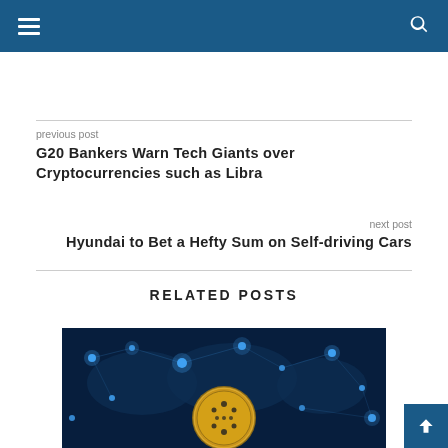previous post
G20 Bankers Warn Tech Giants over Cryptocurrencies such as Libra
next post
Hyundai to Bet a Hefty Sum on Self-driving Cars
RELATED POSTS
[Figure (photo): Dark blue background with world map and glowing blue dots network, featuring a gold cryptocurrency coin with Cardano logo in the center.]